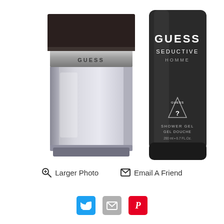[Figure (photo): Two Guess Seductive Homme products: a square glass cologne bottle with dark cap and silver GUESS label on the left, and a dark cylindrical shower gel bottle with GUESS SEDUCTIVE HOMME label on the right, both on white background.]
🔍 Larger Photo   ✉ Email A Friend
[Figure (infographic): Social sharing icons: Twitter (blue bird), Email (gray envelope), Pinterest (red P)]